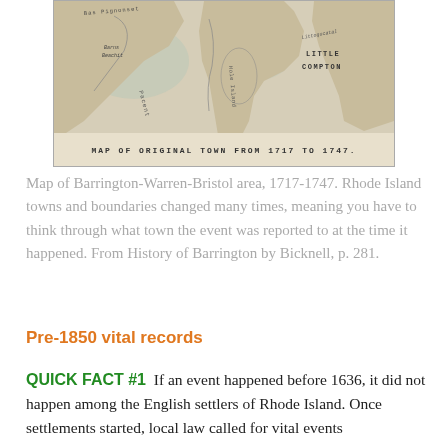[Figure (map): Map of original town from 1717 to 1747, showing the Barrington-Warren-Bristol area with coastline features, islands, and place names including Little Compton. Sepia/tan toned historical map.]
Map of Barrington-Warren-Bristol area, 1717-1747. Rhode Island towns and boundaries changed many times, meaning you have to think through what town the event was reported to at the time it happened. From History of Barrington by Bicknell, p. 281.
Pre-1850 vital records
QUICK FACT #1  If an event happened before 1636, it did not happen among the English settlers of Rhode Island. Once settlements started, local law called for vital events to be recorded in the town in which they took place, from